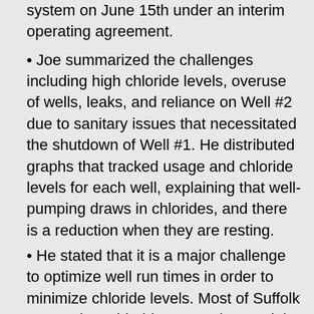system on June 15th under an interim operating agreement.
Joe summarized the challenges including high chloride levels, overuse of wells, leaks, and reliance on Well #2 due to sanitary issues that necessitated the shutdown of Well #1. He distributed graphs that tracked usage and chloride levels for each well, explaining that well-pumping draws in chlorides, and there is a reduction when they are resting.
He stated that it is a major challenge to optimize well run times in order to minimize chloride levels. Most of Suffolk County has chlorides around 30 and the Forks are around 100. He stated that Shelter Island has a very sensitive aquifer and requires close management. Well #2 had to run during the absence of Well #1, resulting in extremely high chlorides, but they were unavoidable since only one well could be used.
The sanitary seal for Well #1 has been repaired